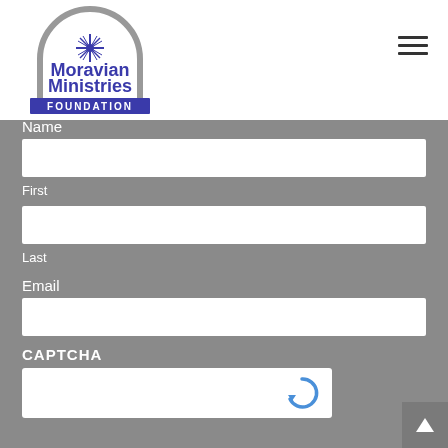[Figure (logo): Moravian Ministries Foundation logo with arch graphic and text]
Name
First
Last
Email
CAPTCHA